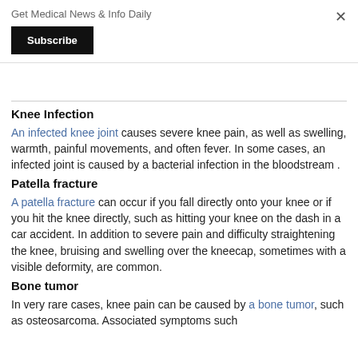Get Medical News & Info Daily
Subscribe
Knee Infection
An infected knee joint causes severe knee pain, as well as swelling, warmth, painful movements, and often fever. In some cases, an infected joint is caused by a bacterial infection in the bloodstream .
Patella fracture
A patella fracture can occur if you fall directly onto your knee or if you hit the knee directly, such as hitting your knee on the dash in a car accident. In addition to severe pain and difficulty straightening the knee, bruising and swelling over the kneecap, sometimes with a visible deformity, are common.
Bone tumor
In very rare cases, knee pain can be caused by a bone tumor, such as osteosarcoma. Associated symptoms such